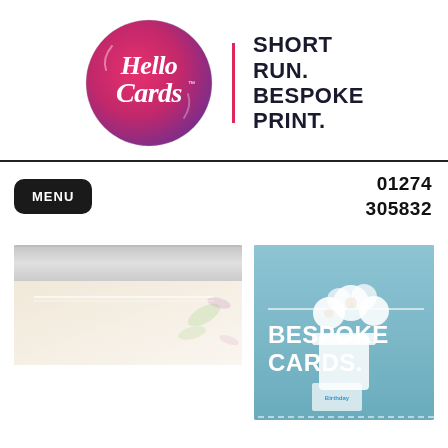[Figure (logo): Hello Cards logo: pink-to-purple gradient circle with 'Hello Cards' in white cursive script, beside a pink vertical divider and bold text 'SHORT RUN. BESPOKE PRINT.']
MENU
01274
305832
[Figure (photo): Horizontal banner image showing a greeting card with floral watercolour design on white background, metallic/silver finish, with a horizontal white line overlay]
[Figure (photo): Photo of white flowers in a white vase on blue background, overlaid with white horizontal line and bold white text 'BESPOKE CARDS.' with a small birthday card visible at bottom]